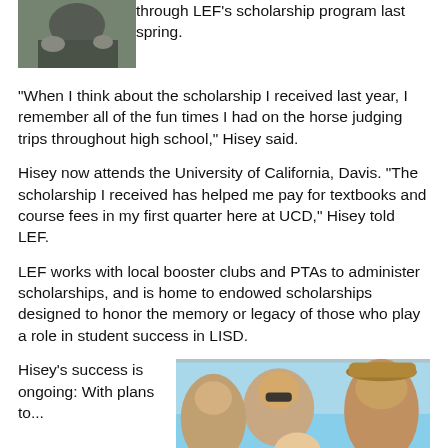[Figure (photo): Photo of person on horseback, partial view at top of page]
through LEF's scholarship program last spring.
"When I think about the scholarship I received last year, I remember all of the fun times I had on the horse judging trips throughout high school," Hisey said.
Hisey now attends the University of California, Davis. "The scholarship I received has helped me pay for textbooks and course fees in my first quarter here at UCD," Hisey told LEF.
LEF works with local booster clubs and PTAs to administer scholarships, and is home to endowed scholarships designed to honor the memory or legacy of those who play a role in student success in LISD.
Hisey's success is ongoing: With plans to...
[Figure (photo): Group selfie photo of people outdoors with blue sky background]